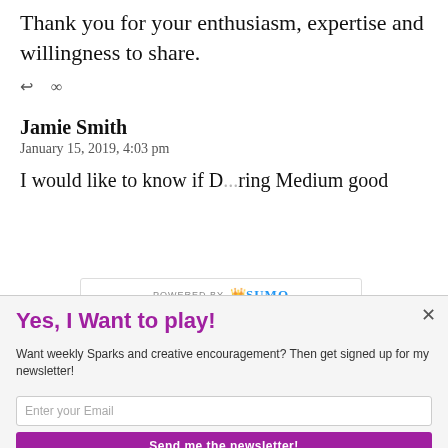Thank you for your enthusiasm, expertise and willingness to share.
← ∞
Jamie Smith
January 15, 2019, 4:03 pm
I would like to know if Do...iring Medium good
[Figure (screenshot): Sumo 'Powered by' branding bar overlay on page content]
Yes, I Want to play!
Want weekly Sparks and creative encouragement? Then get signed up for my newsletter!
Enter your Email
Send me the newsletter!
Yes, I would like you to send me a newsletter.